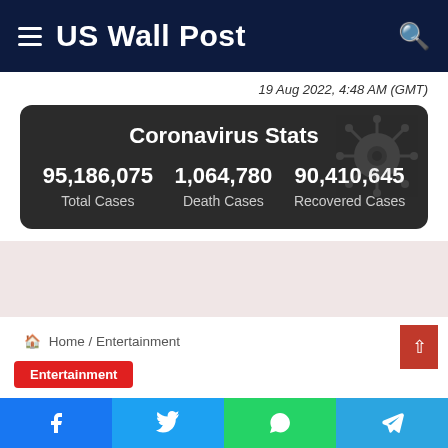US Wall Post
19 Aug 2022, 4:48 AM (GMT)
| Total Cases | Death Cases | Recovered Cases |
| --- | --- | --- |
| 95,186,075 | 1,064,780 | 90,410,645 |
Coronavirus Stats
Home / Entertainment
Entertainment